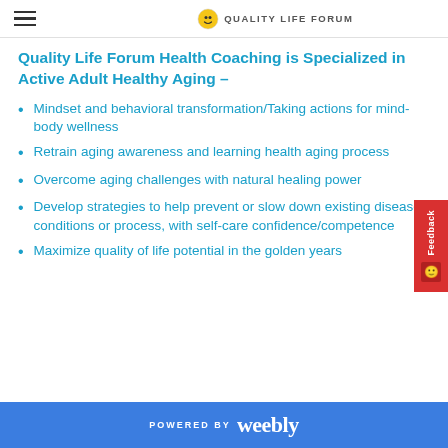Quality Life Forum
Quality Life Forum Health Coaching is Specialized in Active Adult Healthy Aging –
Mindset and behavioral transformation/Taking actions for mind-body wellness
Retrain aging awareness and learning health aging process
Overcome aging challenges with natural healing power
Develop strategies to help prevent or slow down existing disease conditions or process, with self-care confidence/competence
Maximize quality of life potential in the golden years
POWERED BY weebly